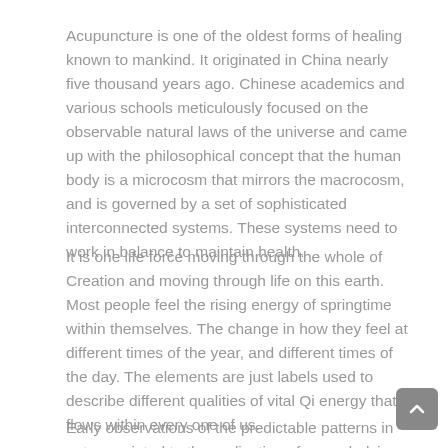Acupuncture is one of the oldest forms of healing known to mankind. It originated in China nearly five thousand years ago. Chinese academics and various schools meticulously focused on the observable natural laws of the universe and came up with the philosophical concept that the human body is a microcosm that mirrors the macrocosm, and is governed by a set of sophisticated interconnected systems. These systems need to work in balance to maintain health.
It is one life force moving through the whole of Creation and moving through life on this earth. Most people feel the rising energy of springtime within themselves. The change in how they feel at different times of the year, and different times of the day. The elements are just labels used to describe different qualities of vital Qi energy that flows within every one of us.
Early observations of the predictable patterns in nature pointed to the realisation of an underlying, cyclical flow of energy. For example, there were five major changes